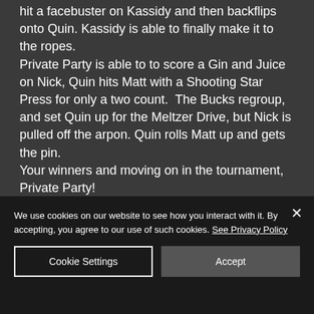hit a facebuster on Kassidy and then backflips onto Quin. Kassidy is able to finally make it to the ropes. Private Party is able to to score a Gin and Juice on Nick, Quin hits Matt with a Shooting Star Press for only a two count.  The Bucks regroup, and set Quin up for the Meltzer Drive, but Nick is pulled off the arpon. Quin rolls Matt up and gets the pin. Your winners and moving on in the tournament, Private Party! Just a note to Nick, that hairline
We use cookies on our website to see how you interact with it. By accepting, you agree to our use of such cookies. See Privacy Policy